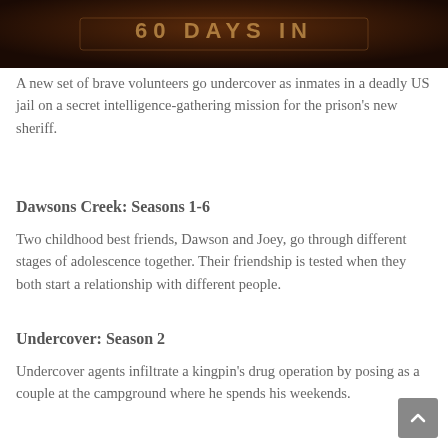[Figure (photo): Dark reddish-brown background image at top of page, appears to be a TV show title card with partially visible logo text]
A new set of brave volunteers go undercover as inmates in a deadly US jail on a secret intelligence-gathering mission for the prison's new sheriff.
Dawsons Creek: Seasons 1-6
Two childhood best friends, Dawson and Joey, go through different stages of adolescence together. Their friendship is tested when they both start a relationship with different people.
Undercover: Season 2
Undercover agents infiltrate a kingpin's drug operation by posing as a couple at the campground where he spends his weekends.